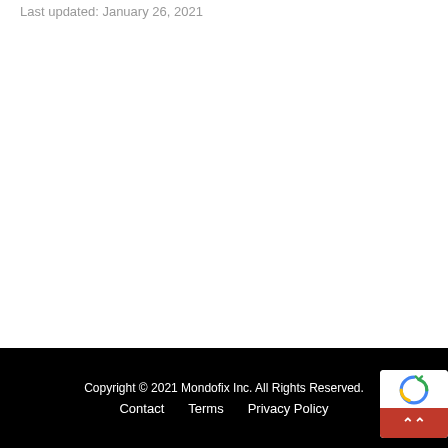Last updated: January 26, 2021
Copyright © 2021 Mondofix Inc. All Rights Reserved.
Contact   Terms   Privacy Policy